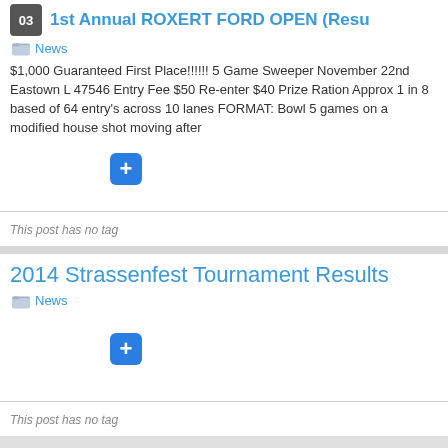1st Annual ROXERT FORD OPEN (Resu...
News
$1,000 Guaranteed First Place!!!!!! 5 Game Sweeper November 22nd Eastown L 47546 Entry Fee $50 Re-enter $40 Prize Ration Approx 1 in 8 based of 64 entry's across 10 lanes FORMAT: Bowl 5 games on a modified house shot moving after
This post has no tag
2014 Strassenfest Tournament Results
News
This post has no tag